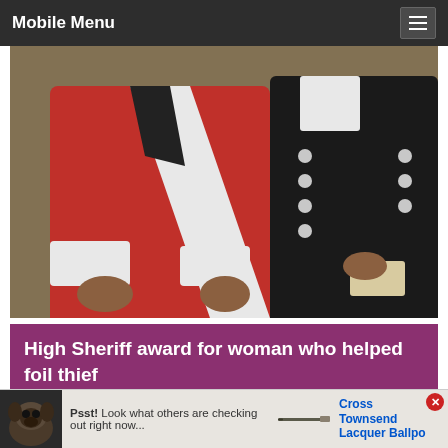Mobile Menu
[Figure (photo): Two people in ceremonial dress — one in red coat with white cuffs and sash, one in black coat with white ruffled jabot — standing close together, hands visible, one holding papers.]
High Sheriff award for woman who helped foil thief
AN EAGLE-EYED woman who helped to bring a jewellery thief
[Figure (infographic): Advertisement banner: dog image with 'Psst! Look what others are checking out right now...' and Cross Townsend Lacquer Ballpoint pen ad with close button.]